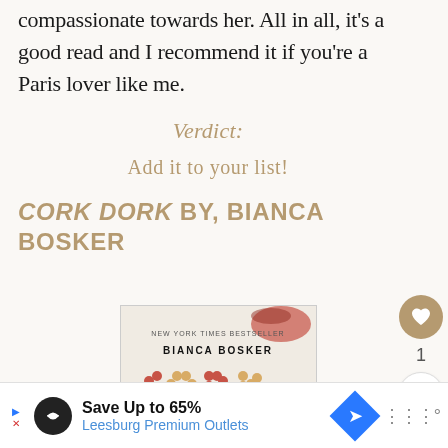compassionate towards her. All in all, it's a good read and I recommend it if you're a Paris lover like me.
Verdict:
Add it to your list!
CORK DORK BY, BIANCA BOSKER
[Figure (photo): Book cover of Cork Dork by Bianca Bosker — New York Times Bestseller, showing the word CORK spelled out in wine corks]
[Figure (other): Sidebar with heart/like button showing count 1 and a share button]
Save Up to 65% Leesburg Premium Outlets